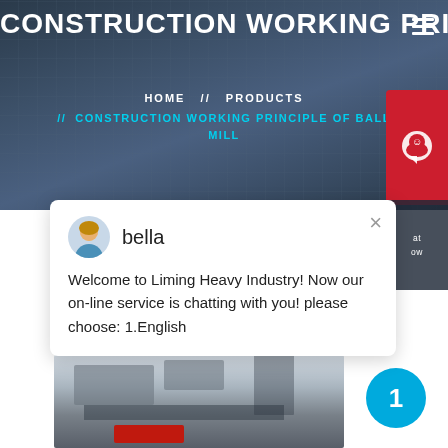CONSTRUCTION WORKING PRIN
HOME // PRODUCTS // CONSTRUCTION WORKING PRINCIPLE OF BALL MILL
[Figure (screenshot): White chat popup box from 'bella' with message: Welcome to Liming Heavy Industry! Now our on-line service is chatting with you! please choose: 1.English]
bella
Welcome to Liming Heavy Industry! Now our on-line service is chatting with you! please choose: 1.English
[Figure (photo): Industrial mining/crushing machinery in a factory setting]